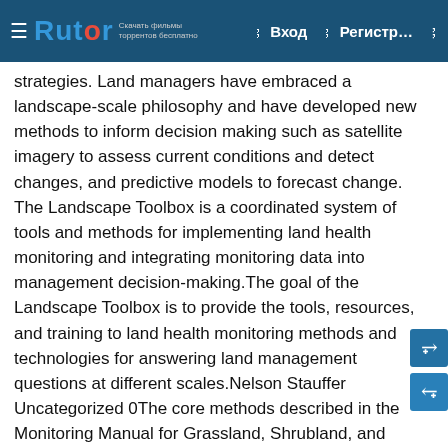Rutor — Вход — Регистр…
strategies. Land managers have embraced a landscape-scale philosophy and have developed new methods to inform decision making such as satellite imagery to assess current conditions and detect changes, and predictive models to forecast change. The Landscape Toolbox is a coordinated system of tools and methods for implementing land health monitoring and integrating monitoring data into management decision-making.The goal of the Landscape Toolbox is to provide the tools, resources, and training to land health monitoring methods and technologies for answering land management questions at different scales.Nelson Stauffer Uncategorized 0The core methods described in the Monitoring Manual for Grassland, Shrubland, and Savanna Ecosystems are intended for multiple use. Each method collects data that can be used to calculate multiple indicators and those indicators have broad applicability. Two of the vegetative methods, canopy gap and vegetation height, have direct application…Continue readingNelson Stauffer Uncategorized 0Quality Assurance (QA) and Quality Control (QC) are both critical to data quality in ecological research and